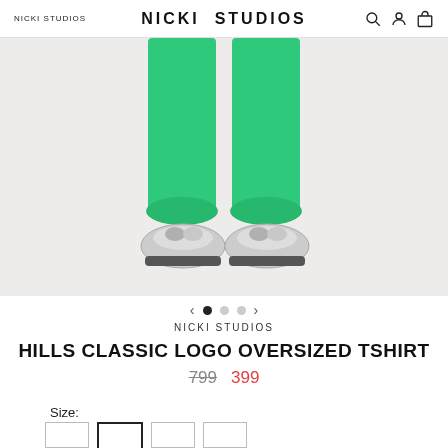NICKI STUDIOS | NICKI STUDIOS
[Figure (photo): Lower half of a person wearing bright green jogger sweatpants and silver/grey chunky sneakers, photographed against a light grey background.]
NICKI STUDIOS
HILLS CLASSIC LOGO OVERSIZED TSHIRT
799  399